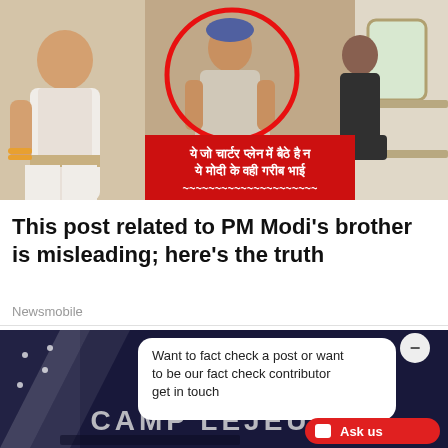[Figure (photo): Screenshot of a social media post showing people seated inside a charter plane with a red circle highlighting one person. A red banner with Hindi text reads: ये जो चार्टर प्लेन में बैठे है न ये मोदी के वही गरीब भाई (roughly: This person sitting in the charter plane is Modi's poor brother)]
This post related to PM Modi's brother is misleading; here's the truth
Newsmobile
[Figure (screenshot): Promotional/advertisement image for Camp Lejeune with a chat popup saying 'Want to fact check a post or want to be our fact check contributor get in touch' and an 'Ask us' button.]